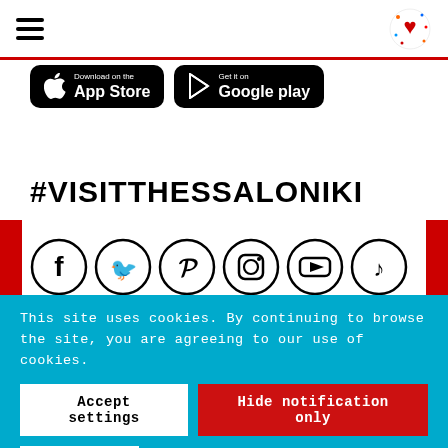Navigation bar with hamburger menu and logo
[Figure (screenshot): Download on the App Store button (black rounded rectangle)]
[Figure (screenshot): Get it on Google Play button (black rounded rectangle)]
#VISITTHESSALONIKI
[Figure (infographic): Row of 6 social media icons: Facebook, Twitter, Pinterest, Instagram, YouTube, TikTok]
This site uses cookies. By continuing to browse the site, you are agreeing to our use of cookies.
Accept settings | Hide notification only | Settings